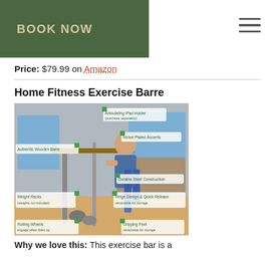BOOK NOW
Price: $79.99 on Amazon
Home Fitness Exercise Barre
[Figure (photo): Product photo of a Home Fitness Exercise Barre with a woman performing an exercise, with labeled callouts: Articulating iPad Holder (purchase separately), Nickel Plated Accents, Authentic Wooden Barre, Durable Steel Construction, Weight Racks (weights not included), Hinge Design & Quick Release, Rolling Wheels (engage when tilted up), Gripping Feet (retractable for storage)]
Why we love this: This exercise bar is a